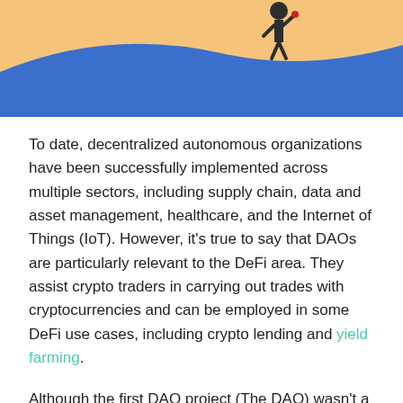[Figure (illustration): Illustration showing a person figure with orange/blue abstract shapes representing a digital/crypto environment]
To date, decentralized autonomous organizations have been successfully implemented across multiple sectors, including supply chain, data and asset management, healthcare, and the Internet of Things (IoT). However, it's true to say that DAOs are particularly relevant to the DeFi area. They assist crypto traders in carrying out trades with cryptocurrencies and can be employed in some DeFi use cases, including crypto lending and yield farming.
Although the first DAO project (The DAO) wasn't a success, it didn't stop the initiation and development of other DAOs, which have numerous advantages over existing solutions.